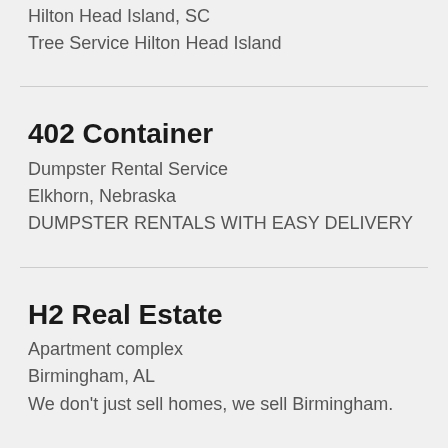Hilton Head Island, SC
Tree Service Hilton Head Island
402 Container
Dumpster Rental Service
Elkhorn, Nebraska
DUMPSTER RENTALS WITH EASY DELIVERY
H2 Real Estate
Apartment complex
Birmingham, AL
We don't just sell homes, we sell Birmingham.